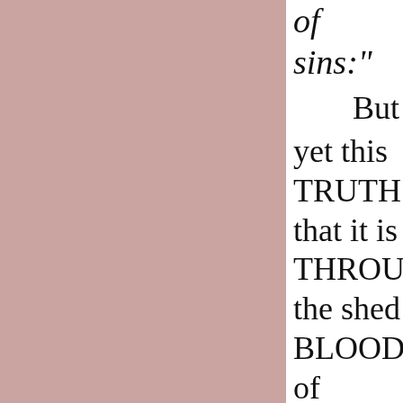of sins:" But yet this TRUTH that it is THROUGH the shed BLOOD of Jesus is TAKEN OUT of the MODERN translations of the Bible. To